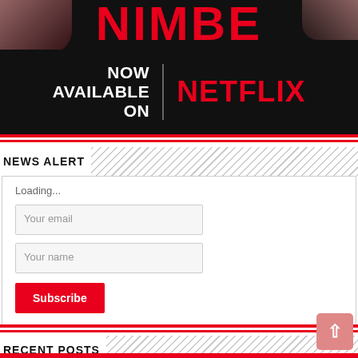[Figure (photo): Movie promotional banner: title text partially visible (large red bold letters), 'DIRECTED BY TOPE ALAKE' subtitle, black background with 'NOW AVAILABLE ON' in white bold text and 'NETFLIX' in large red bold text, separated by a vertical divider line.]
NEWS ALERT
Loading...
Your email
Your name
Subscribe
RECENT POSTS